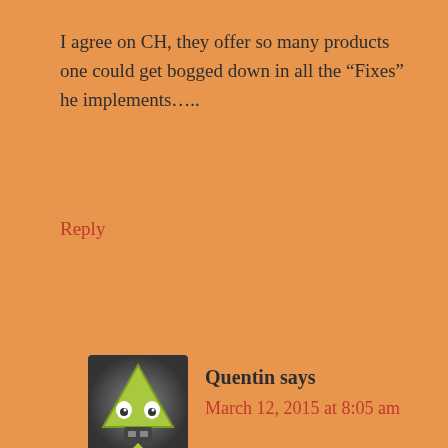I agree on CH, they offer so many products one could get bogged down in all the “Fixes” he implements…..
Reply
[Figure (illustration): Avatar image of a cartoon robot/alien character with a triangular green head and big eyes]
Quentin says
March 12, 2015 at 8:05 am
I particularly wanted a Kursk module which includes Panthers and Tigers, but in GoH/Ponryi not a single panther appears. Considering the Germans delayed Kursk until they had enough panthers ready, – thus giving Russians time to build a